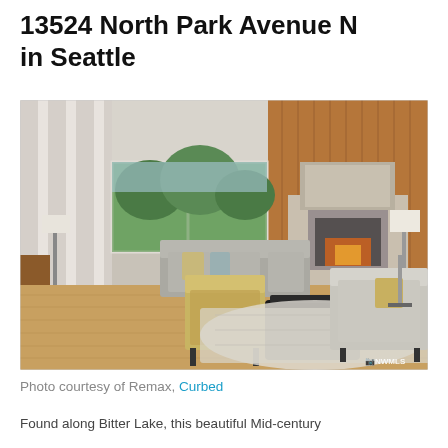13524 North Park Avenue N in Seattle
[Figure (photo): Interior living room photo of a mid-century modern home with hardwood floors, a stone fireplace, wood-paneled walls, large windows with a view of trees, and stylish furniture including a patterned armchair and gray sofas. NWMLS watermark visible in bottom right.]
Photo courtesy of Remax, Curbed
Found along Bitter Lake, this beautiful Mid-century